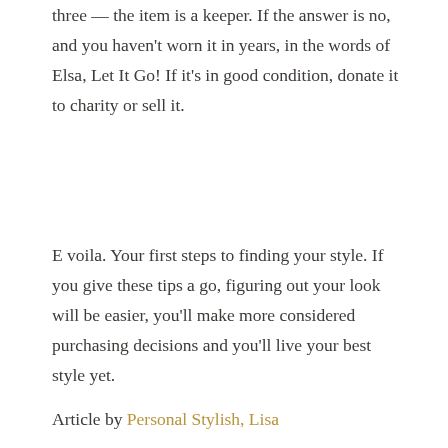three — the item is a keeper. If the answer is no, and you haven't worn it in years, in the words of Elsa, Let It Go! If it's in good condition, donate it to charity or sell it.
E voila. Your first steps to finding your style. If you give these tips a go, figuring out your look will be easier, you'll make more considered purchasing decisions and you'll live your best style yet.
Article by Personal Stylish, Lisa